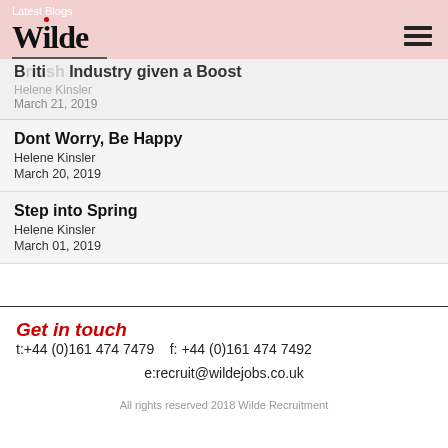Latest Blogs
[Figure (logo): Wilde Recruitment logo with red dot over the i and underline]
British Industry given a Boost
Helene Kinsler
March 21, 2019
Dont Worry, Be Happy
Helene Kinsler
March 20, 2019
Step into Spring
Helene Kinsler
March 01, 2019
Get in touch   t:+44 (0)161 474 7479   f: +44 (0)161 474 7492
e:recruit@wildejobs.co.uk
All rights reserved 2018 Wilde Recruitment